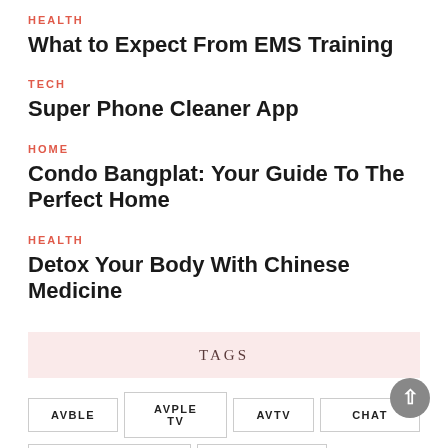HEALTH
What to Expect From EMS Training
TECH
Super Phone Cleaner App
HOME
Condo Bangplat: Your Guide To The Perfect Home
HEALTH
Detox Your Body With Chinese Medicine
TAGS
AVBLE
AVPLE TV
AVTV
CHAT
CLEAN MASTER
COMBINED